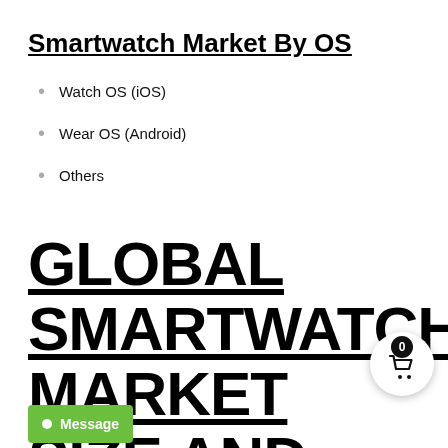Smartwatch Market By OS
Watch OS (iOS)
Wear OS (Android)
Others
GLOBAL SMARTWATCH MARKET SIZE AND FORECAST
The smartwatch space remains a popular consumer segment, compared to the downturn seen in